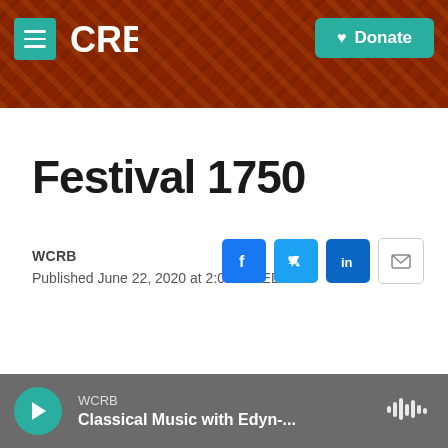[Figure (screenshot): CRB website header with teal menu button, CRB logo, and teal Donate button on dark red/brown textured background]
Festival 1750
WCRB
Published June 22, 2020 at 2:06 PM EDT
[Figure (screenshot): Social share buttons: Facebook (blue f), Twitter (blue bird), LinkedIn (blue in), Email (envelope outline)]
[Figure (screenshot): Audio player bar showing WCRB station, Classical Music with Edyn-... title, teal play button, and audio waveform icon on gray background]